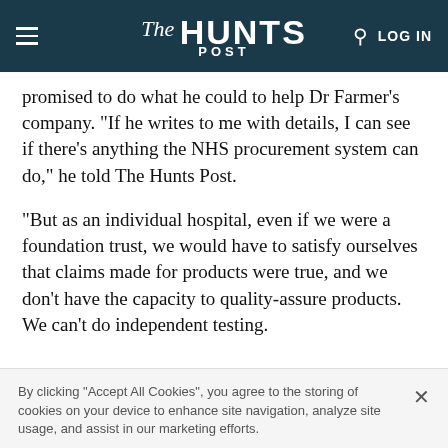The HUNTS POST
promised to do what he could to help Dr Farmer's company. "If he writes to me with details, I can see if there's anything the NHS procurement system can do," he told The Hunts Post.
"But as an individual hospital, even if we were a foundation trust, we would have to satisfy ourselves that claims made for products were true, and we don't have the capacity to quality-assure products. We can't do independent testing.
By clicking “Accept All Cookies”, you agree to the storing of cookies on your device to enhance site navigation, analyze site usage, and assist in our marketing efforts.